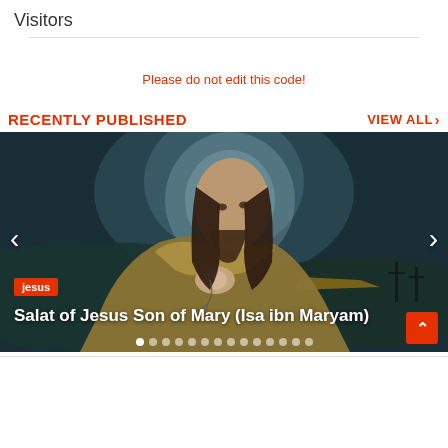Visitors
Please do not edit this code!
RECENTLY PUBLISHED
VIEW ALL >
[Figure (photo): Painting of Jesus (Isa ibn Maryam) praying with hands clasped, looking upward with a glowing halo, dark moody background with landscape and crosses in distance. Carousel slide with navigation arrows, tag badge 'jesus', caption 'Salat of Jesus Son of Mary (Isa ibn Maryam)', and pagination dots.]
Salat of Jesus Son of Mary (Isa ibn Maryam)